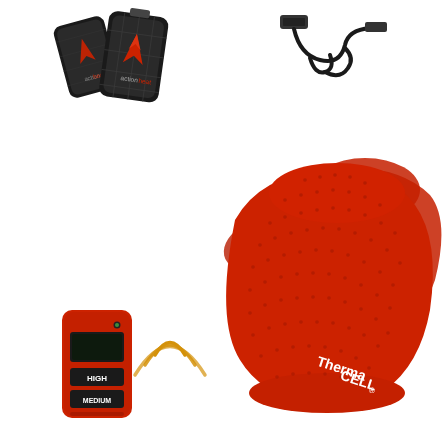[Figure (photo): Product photo showing heated insole accessories: top-left shows two black ActionHeat battery packs with red logo and a USB charging cable; center-right shows a pair of large red ThermaCell heated insoles with textured surface; bottom-left shows a small red remote control with 'HIGH' and 'MEDIUM' buttons and a wireless signal icon (golden arcs) indicating remote connectivity to the insoles.]